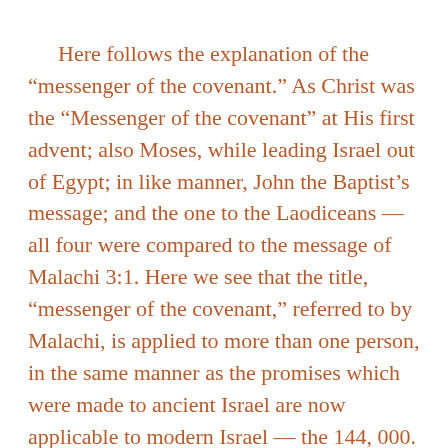Here follows the explanation of the “messenger of the covenant.” As Christ was the “Messenger of the covenant” at His first advent; also Moses, while leading Israel out of Egypt; in like manner, John the Baptist’s message; and the one to the Laodiceans — all four were compared to the message of Malachi 3:1. Here we see that the title, “messenger of the covenant,” referred to by Malachi, is applied to more than one person, in the same manner as the promises which were made to ancient Israel are now applicable to modern Israel — the 144, 000.
Says the Spirit of Prophecy, “…It is necessary now that the minds of God’s people should be open to understand the Scriptures. To say that a message means just this and